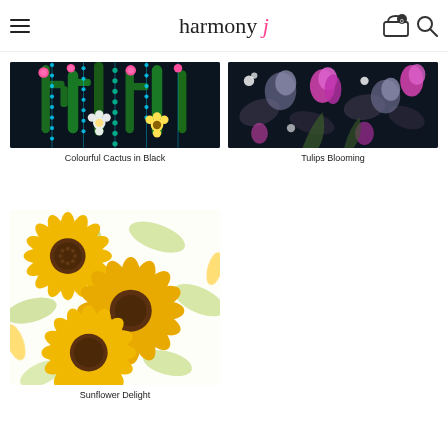harmony j
[Figure (photo): Colourful cactus fabric pattern with pink and white flowers on dark background]
Colourful Cactus in Black
[Figure (photo): Tulips blooming fabric pattern with pink and purple flowers on dark background]
Tulips Blooming
[Figure (photo): Sunflower delight fabric pattern with large yellow sunflowers and green leaves on white background]
Sunflower Delight